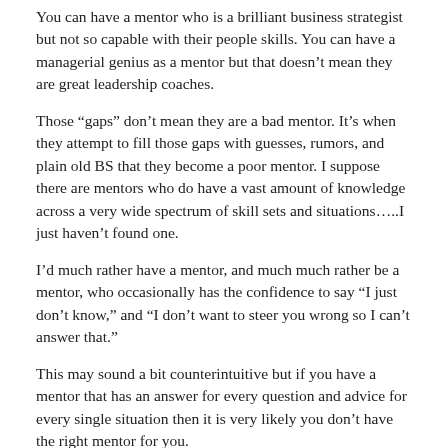You can have a mentor who is a brilliant business strategist but not so capable with their people skills. You can have a managerial genius as a mentor but that doesn't mean they are great leadership coaches.
Those “gaps” don’t mean they are a bad mentor. It’s when they attempt to fill those gaps with guesses, rumors, and plain old BS that they become a poor mentor. I suppose there are mentors who do have a vast amount of knowledge across a very wide spectrum of skill sets and situations…..I just haven’t found one.
I’d much rather have a mentor, and much much rather be a mentor, who occasionally has the confidence to say “I just don’t know,” and “I don’t want to steer you wrong so I can’t answer that.”
This may sound a bit counterintuitive but if you have a mentor that has an answer for every question and advice for every single situation then it is very likely you don’t have the right mentor for you.
Having more than one mentor helps overcome the limits that all truly good mentors have. When you have multiple mentors you are more likely to have a mentor with deeper experience in the area(s) where you need help. When you have mentors who look at the same situation but view it from different angles you’re provided with a deeper understanding of what you’re dealing with and that makes a successful outcome much more likely.